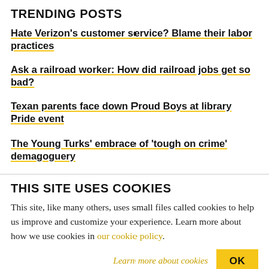TRENDING POSTS
Hate Verizon's customer service? Blame their labor practices
Ask a railroad worker: How did railroad jobs get so bad?
Texan parents face down Proud Boys at library Pride event
The Young Turks' embrace of 'tough on crime' demagoguery
THIS SITE USES COOKIES
This site, like many others, uses small files called cookies to help us improve and customize your experience. Learn more about how we use cookies in our cookie policy.
Learn more about cookies   OK